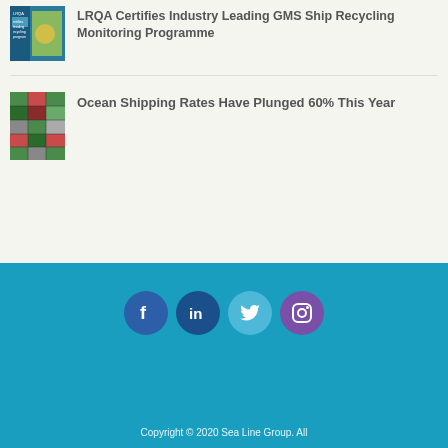[Figure (photo): Thumbnail image showing a worker with LRQA branding and text about certifying recycling programme]
LRQA Certifies Industry Leading GMS Ship Recycling Monitoring Programme
[Figure (photo): Thumbnail image of stacked shipping containers in green and red colors]
Ocean Shipping Rates Have Plunged 60% This Year
[Figure (infographic): Social media icons: Facebook, LinkedIn, Twitter, Instagram]
Copyright © 2020 Sea Line Group. All